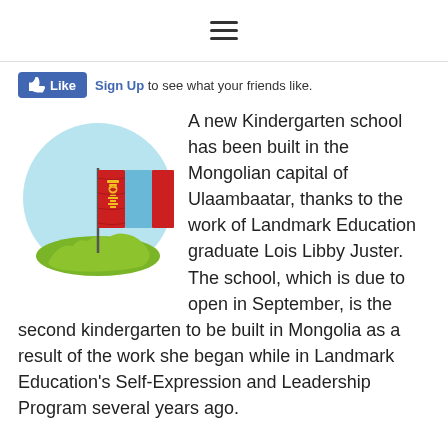≡
[Figure (other): Facebook Like button with 'Sign Up to see what your friends like.' text]
[Figure (illustration): Illustration of the Mongolian flag waving on a pole planted on a green map silhouette of Mongolia, set against a light blue circular background]
A new Kindergarten school has been built in the Mongolian capital of Ulaambaatar, thanks to the work of Landmark Education graduate Lois Libby Juster. The school, which is due to open in September, is the second kindergarten to be built in Mongolia as a result of the work she began while in Landmark Education's Self-Expression and Leadership Program several years ago.